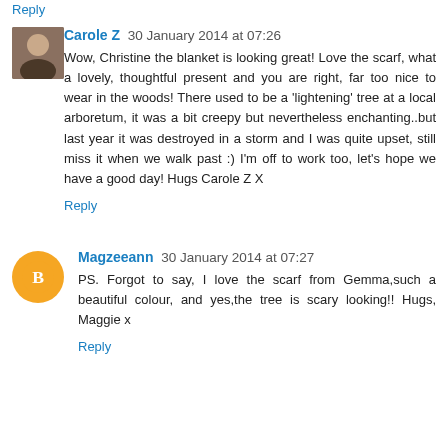Reply
Carole Z 30 January 2014 at 07:26
Wow, Christine the blanket is looking great! Love the scarf, what a lovely, thoughtful present and you are right, far too nice to wear in the woods! There used to be a 'lightening' tree at a local arboretum, it was a bit creepy but nevertheless enchanting..but last year it was destroyed in a storm and I was quite upset, still miss it when we walk past :) I'm off to work too, let's hope we have a good day! Hugs Carole Z X
Reply
Magzeeann 30 January 2014 at 07:27
PS. Forgot to say, I love the scarf from Gemma,such a beautiful colour, and yes,the tree is scary looking!! Hugs, Maggie x
Reply